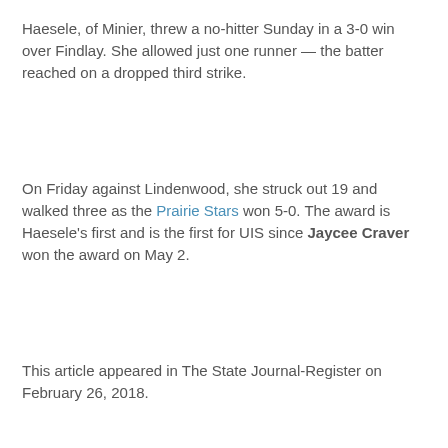Haesele, of Minier, threw a no-hitter Sunday in a 3-0 win over Findlay. She allowed just one runner — the batter reached on a dropped third strike.
On Friday against Lindenwood, she struck out 19 and walked three as the Prairie Stars won 5-0. The award is Haesele's first and is the first for UIS since Jaycee Craver won the award on May 2.
This article appeared in The State Journal-Register on February 26, 2018.
Read the entire article online.
Angela Try at 9:29 AM
Share
Monday, February 26, 2018
Women's Softball: UIS beats No. 15